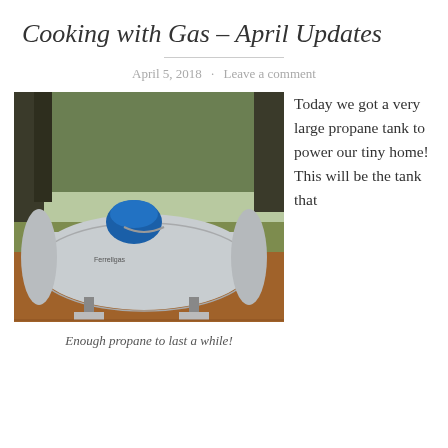Cooking with Gas – April Updates
April 5, 2018 · Leave a comment
[Figure (photo): A large silver propane tank sitting on concrete supports outdoors in a clearing surrounded by pine trees. A blue regulator cap is on top.]
Enough propane to last a while!
Today we got a very large propane tank to power our tiny home! This will be the tank that